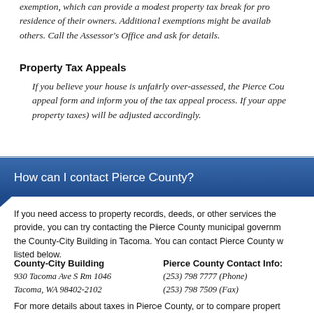exemption, which can provide a modest property tax break for properties that are the primary residence of their owners. Additional exemptions might be available for seniors, disabled people, and others. Call the Assessor's Office and ask for details.
Property Tax Appeals
If you believe your house is unfairly over-assessed, the Pierce County Assessor's Office can provide an appeal form and inform you of the tax appeal process. If your appeal is successful, your assessment (and property taxes) will be adjusted accordingly.
How can I contact Pierce County?
If you need access to property records, deeds, or other services the Pierce County government can provide, you can try contacting the Pierce County municipal government, which is located in the County-City Building in Tacoma. You can contact Pierce County with the contact information listed below.
County-City Building
930 Tacoma Ave S Rm 1046
Tacoma, WA 98402-2102
Pierce County Contact Info:
(253) 798 7777 (Phone)
(253) 798 7509 (Fax)
For more details about taxes in Pierce County, or to compare property